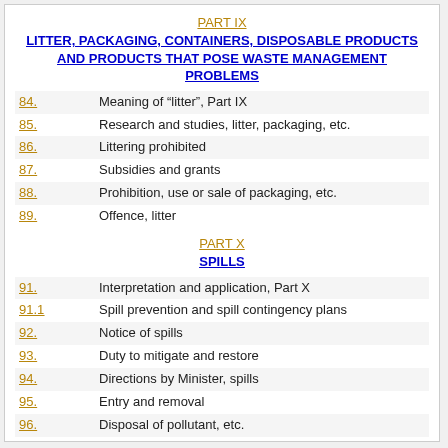PART IX
LITTER, PACKAGING, CONTAINERS, DISPOSABLE PRODUCTS AND PRODUCTS THAT POSE WASTE MANAGEMENT PROBLEMS
84. Meaning of “litter”, Part IX
85. Research and studies, litter, packaging, etc.
86. Littering prohibited
87. Subsidies and grants
88. Prohibition, use or sale of packaging, etc.
89. Offence, litter
PART X
SPILLS
91. Interpretation and application, Part X
91.1 Spill prevention and spill contingency plans
92. Notice of spills
93. Duty to mitigate and restore
94. Directions by Minister, spills
95. Entry and removal
96. Disposal of pollutant, etc.